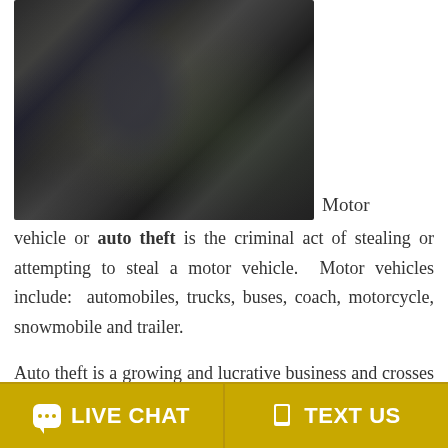[Figure (photo): Photo of a person in dark clothing appearing to break into or tamper with a motor vehicle]
Motor vehicle or auto theft is the criminal act of stealing or attempting to steal a motor vehicle. Motor vehicles include: automobiles, trucks, buses, coach, motorcycle, snowmobile and trailer.

Auto theft is a growing and lucrative business and crosses all boundaries of criminals from petty break & enters to grand theft auto, so prosecutors are
LIVE CHAT   TEXT US